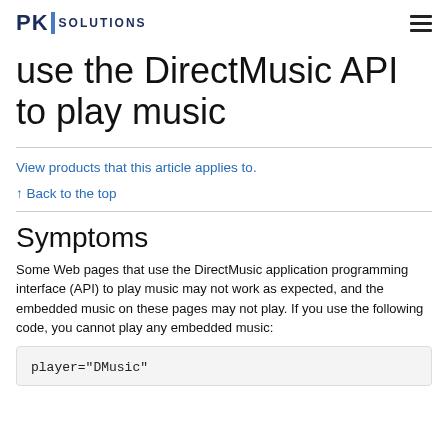PKI SOLUTIONS
use the DirectMusic API to play music
View products that this article applies to.
↑ Back to the top
Symptoms
Some Web pages that use the DirectMusic application programming interface (API) to play music may not work as expected, and the embedded music on these pages may not play. If you use the following code, you cannot play any embedded music:
player="DMusic"